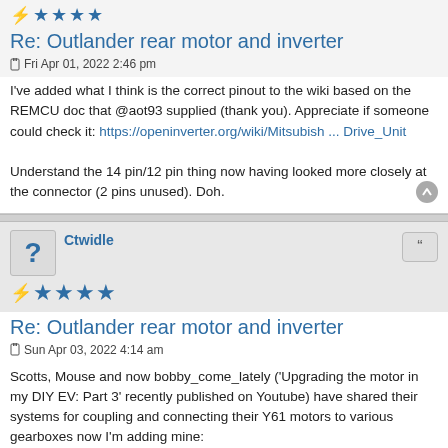[Figure (other): Partial star rating row at top of page - blue stars]
Re: Outlander rear motor and inverter
Fri Apr 01, 2022 2:46 pm
I've added what I think is the correct pinout to the wiki based on the REMCU doc that @aot93 supplied (thank you). Appreciate if someone could check it: https://openinverter.org/wiki/Mitsubish ... Drive_Unit

Understand the 14 pin/12 pin thing now having looked more closely at the connector (2 pins unused). Doh.
[Figure (other): User avatar with question mark icon and username Ctwidle, four blue stars rating with bolt icon, quote button]
Re: Outlander rear motor and inverter
Sun Apr 03, 2022 4:14 am
Scotts, Mouse and now bobby_come_lately ('Upgrading the motor in my DIY EV: Part 3' recently published on Youtube) have shared their systems for coupling and connecting their Y61 motors to various gearboxes now I'm adding mine:
As I will not be using the native diff, due to difficulties acquiring suitable drive shafts, but using the original beetle gearbox, I need a motor spline,